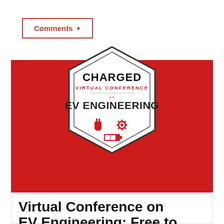Comments ▼
[Figure (logo): Charged Virtual Conference on EV Engineering badge/logo — hexagonal white badge with dark border on a red background. Text inside: CHARGED, VIRTUAL CONFERENCE, EV ENGINEERING, with icons of a plug, a gear/cog, and a battery below.]
Create Account. Already Registered? Log In
Virtual Conference on EV Engineering: Free to